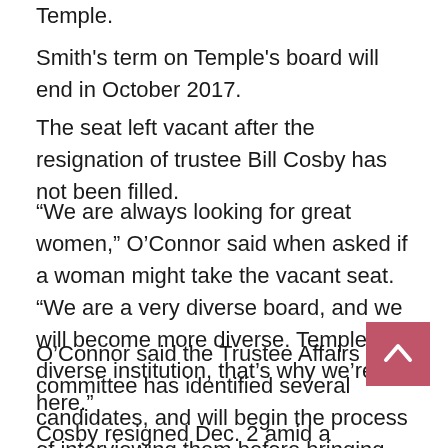Temple.
Smith's term on Temple's board will end in October 2017.
The seat left vacant after the resignation of trustee Bill Cosby has not been filled.
“We are always looking for great women,” O’Connor said when asked if a woman might take the vacant seat. “We are a very diverse board, and we will become more diverse. Temple is a diverse institution, that’s why we’re here.”
O’Connor said the Trustee Affairs committee has identified several candidates, and will begin the process of interviewing them before bringing them to the full board for a vote.
Cosby resigned Dec. 2 amid a resurgence in allegations of